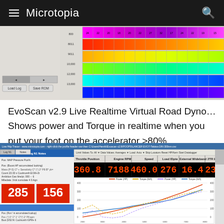Microtopia
[Figure (screenshot): EvoScan software screenshot showing a colorful fuel map / ignition table with rainbow gradient cells (red, orange, yellow, green, blue, purple) and control buttons Load Log and Save ROM]
EvoScan v2.9 Live Realtime Virtual Road Dyno… Shows power and Torque in realtime when you put your foot on the accelerator >80%
[Figure (screenshot): EvoScan v2.9 virtual road dyno screenshot showing live values: 360.8 Throttle Position, 7188 Engine RPM, 460.0 Speed, 276 Load IDpte, 16.4 External Wideband, 23.0 2TR Boost, with 285 and 156 displayed in red boxes, and a real-time dyno chart showing Power (HP) and Torque (lb/ft) curves]